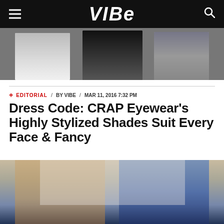VIBE
[Figure (photo): Cropped photo of three people standing, showing torsos and lower bodies, against a dark background]
+ EDITORIAL / BY VIBE / MAR 11, 2016 7:32 PM
Dress Code: CRAP Eyewear's Highly Stylized Shades Suit Every Face & Fancy
[Figure (photo): Two people standing side by side outdoors. Left person wears a camel coat over a light denim shirt with jeans and a watch. Right person wears an oversized denim jacket with black pants.]